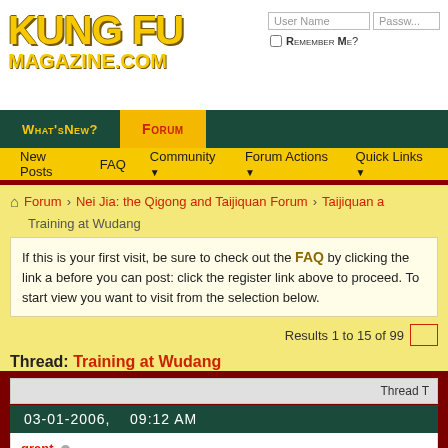[Figure (logo): Kung Fu Magazine.com logo in yellow stylized text]
User Name | Password | Remember Me?
What's New? | Forum
New Posts | FAQ | Community | Forum Actions | Quick Links
Forum > Nei Jia: the Qigong and Taijiquan Forum > Taijiquan a > Training at Wudang
If this is your first visit, be sure to check out the FAQ by clicking the link a before you can post: click the register link above to proceed. To start view you want to visit from the selection below.
Results 1 to 15 of 99
Thread: Training at Wudang
Thread T
03-01-2006,    09:12 AM
grant
Registered User